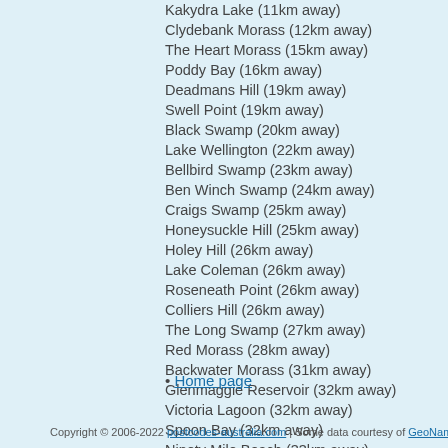Kakydra Lake (11km away)
Clydebank Morass (12km away)
The Heart Morass (15km away)
Poddy Bay (16km away)
Deadmans Hill (19km away)
Swell Point (19km away)
Black Swamp (20km away)
Lake Wellington (22km away)
Bellbird Swamp (23km away)
Ben Winch Swamp (24km away)
Craigs Swamp (25km away)
Honeysuckle Hill (25km away)
Holey Hill (26km away)
Lake Coleman (26km away)
Roseneath Point (26km away)
Colliers Hill (26km away)
The Long Swamp (27km away)
Red Morass (28km away)
Backwater Morass (31km away)
Glenmaggie Reservoir (32km away)
Victoria Lagoon (32km away)
Spoon Bay (32km away)
Ninety Mile Beach (33km away)
Jones Bay (34km away)
• Home page
Copyright © 2006-2022 postcodes-australia.com | Some data courtesy of GeoNames, used unde…